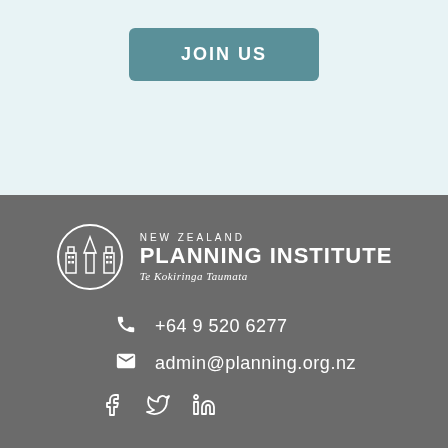JOIN US
[Figure (logo): New Zealand Planning Institute logo — circular emblem with stylized building/tree motif, text reading NEW ZEALAND PLANNING INSTITUTE Te Kokiringa Taumata]
+64 9 520 6277
admin@planning.org.nz
[Figure (other): Social media icons: Facebook, Twitter, LinkedIn]